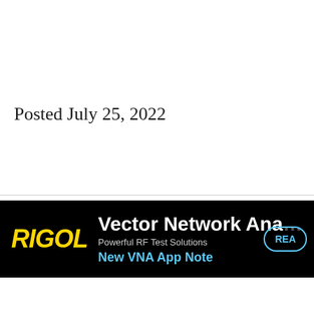Posted July 25, 2022
[Figure (infographic): RIGOL advertisement banner on black background. Shows RIGOL logo in yellow italic bold text on left. Text reads 'Vector Network Ana...' in large white bold, 'Powerful RF Test Solutions' in gray, 'New VNA App Note' in blue bold. Partially visible cyan oval button with 'REA...' on the right edge.]